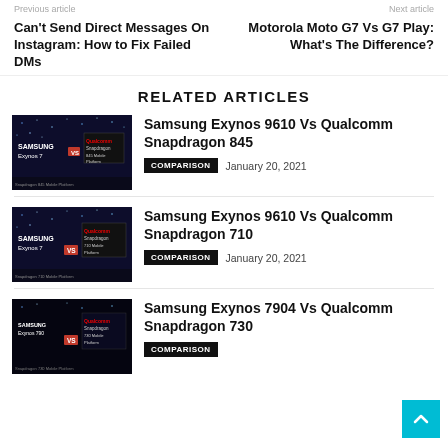Previous article   Next article
Can't Send Direct Messages On Instagram: How to Fix Failed DMs
Motorola Moto G7 Vs G7 Play: What's The Difference?
RELATED ARTICLES
[Figure (photo): Samsung Exynos 7 vs Qualcomm Snapdragon 845 chip comparison image]
Samsung Exynos 9610 Vs Qualcomm Snapdragon 845
COMPARISON   January 20, 2021
[Figure (photo): Samsung Exynos 7 vs Qualcomm Snapdragon 710 Mobile Platform chip comparison image]
Samsung Exynos 9610 Vs Qualcomm Snapdragon 710
COMPARISON   January 20, 2021
[Figure (photo): Samsung Exynos 7904 vs Qualcomm Snapdragon 730 Mobile Platform chip comparison image]
Samsung Exynos 7904 Vs Qualcomm Snapdragon 730